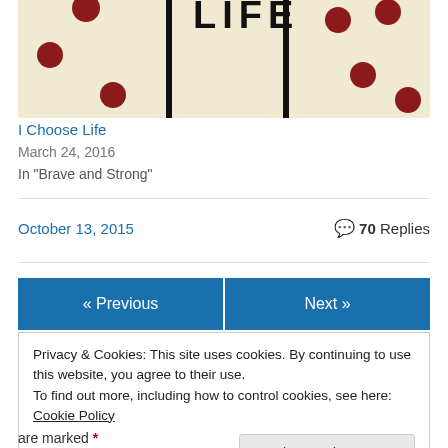[Figure (illustration): Book cover illustration with cream/beige background, black vertical lines (like a ladder or bars), and dark red/maroon dots scattered throughout. Text 'LIFE' visible in bold black letters at top center.]
I Choose Life
March 24, 2016
In "Brave and Strong"
October 13, 2015
💬 70 Replies
« Previous
Next »
Privacy & Cookies: This site uses cookies. By continuing to use this website, you agree to their use.
To find out more, including how to control cookies, see here: Cookie Policy
Close and accept
are marked *